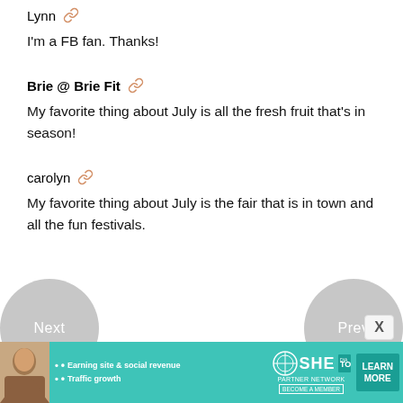Lynn 🔗
I'm a FB fan. Thanks!
Brie @ Brie Fit 🔗
My favorite thing about July is all the fresh fruit that's in season!
carolyn 🔗
My favorite thing about July is the fair that is in town and all the fun festivals.
[Figure (screenshot): Navigation buttons: Next (left) and Prev (right) circular gray overlay buttons]
[Figure (screenshot): Close (X) button overlay]
[Figure (infographic): SHE media partner network advertisement banner with teal background, woman photo, bullet points about Earning site & social revenue and Traffic growth, SHE logo, and LEARN MORE button]